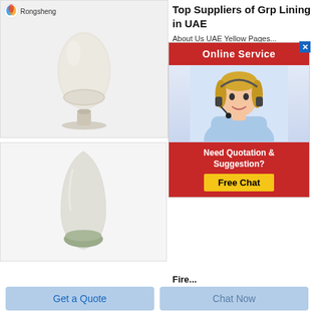[Figure (photo): Product photo: white powder in a glass vessel on a pedestal, with Rongsheng logo top-left]
[Figure (photo): Product photo: grey/green powder in a glass teardrop-shaped container]
Top Suppliers of Grp Lining in UAE
About Us UAE Yellow Pages...
Onlin...
[Figure (screenshot): Online Service popup overlay with red header, customer service agent photo, Need Quotation & Suggestion? text, and Free Chat button]
Fire...
Aug d... dass...
Get Price
Get a Quote
Chat Now